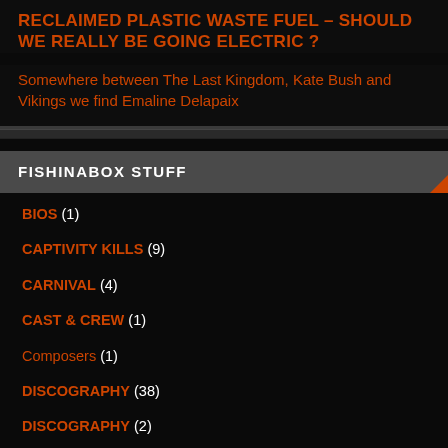RECLAIMED PLASTIC WASTE FUEL – SHOULD WE REALLY BE GOING ELECTRIC ?
Somewhere between The Last Kingdom, Kate Bush and Vikings we find Emaline Delapaix
FISHINABOX STUFF
BIOS (1)
CAPTIVITY KILLS (9)
CARNIVAL (4)
CAST & CREW (1)
Composers (1)
DISCOGRAPHY (38)
DISCOGRAPHY (2)
DOMESTIC ABUSE (13)
FISHINABOX News (117)